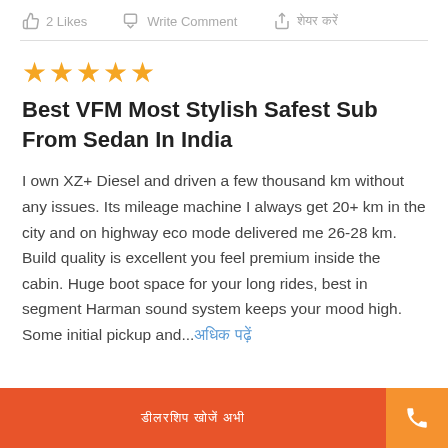2 Likes   Write Comment   शेयर करें
Best VFM Most Stylish Safest Sub From Sedan In India
I own XZ+ Diesel and driven a few thousand km without any issues. Its mileage machine I always get 20+ km in the city and on highway eco mode delivered me 26-28 km. Build quality is excellent you feel premium inside the cabin. Huge boot space for your long rides, best in segment Harman sound system keeps your mood high. Some initial pickup and...अधिक पढ़ें
डीलरशिप खोजें अभी